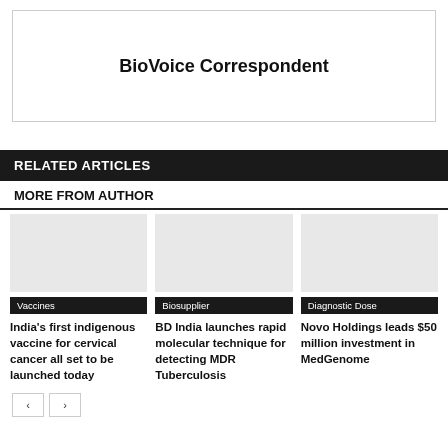BioVoice Correspondent
RELATED ARTICLES
MORE FROM AUTHOR
Vaccines
India's first indigenous vaccine for cervical cancer all set to be launched today
Biosupplier
BD India launches rapid molecular technique for detecting MDR Tuberculosis
Diagnostic Dose
Novo Holdings leads $50 million investment in MedGenome